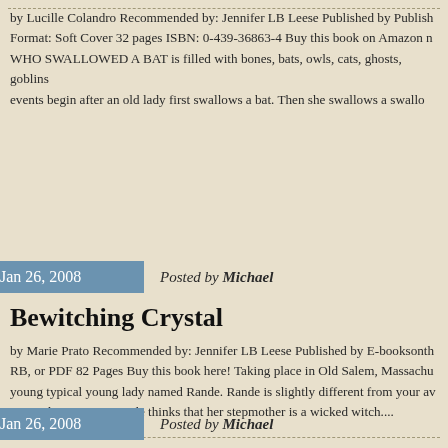by Lucille Colandro Recommended by: Jennifer LB Leese Published by Publish Format: Soft Cover 32 pages ISBN: 0-439-36863-4 Buy this book on Amazon no WHO SWALLOWED A BAT is filled with bones, bats, owls, cats, ghosts, goblins events begin after an old lady first swallows a bat. Then she swallows a swallo
Jan 26, 2008   Posted by Michael
Bewitching Crystal
by Marie Prato Recommended by: Jennifer LB Leese Published by E-booksonth RB, or PDF 82 Pages Buy this book here! Taking place in Old Salem, Massachu young typical young lady named Rande. Rande is slightly different from your av married, Maureen. Rande thinks that her stepmother is a wicked witch....
Jan 26, 2008   Posted by Michael